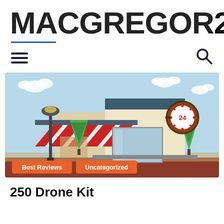[Figure (logo): MACGREGOR26 logo in large bold black letters with a blue underline beneath MACGREGOR]
[Figure (illustration): Flat illustration of a retail store front with red and white striped awning, street lamp, trees, and a 24-hour clock sign. Tags 'Best Reviews' and 'Uncategorized' appear at the bottom.]
250 Drone Kit